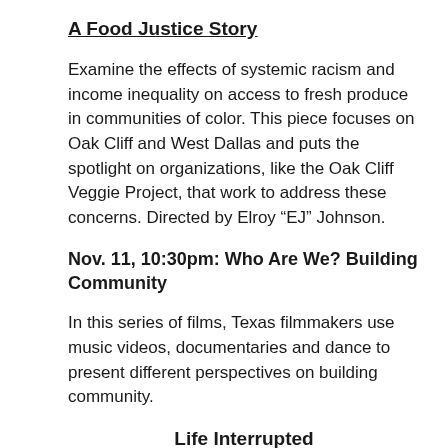A Food Justice Story
Examine the effects of systemic racism and income inequality on access to fresh produce in communities of color. This piece focuses on Oak Cliff and West Dallas and puts the spotlight on organizations, like the Oak Cliff Veggie Project, that work to address these concerns. Directed by Elroy “EJ” Johnson.
Nov. 11, 10:30pm: Who Are We? Building Community
In this series of films, Texas filmmakers use music videos, documentaries and dance to present different perspectives on building community.
Life Interrupted